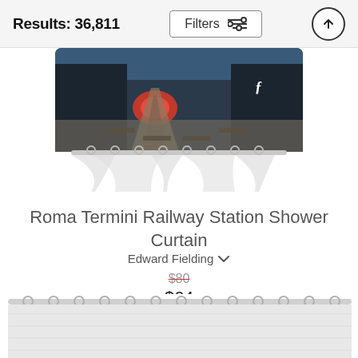Results: 36,811
[Figure (photo): Shower curtain product photo showing Roma Termini Railway Station image, hanging on a curtain rod with hooks, railway tracks and trains visible on the curtain design]
Roma Termini Railway Station Shower Curtain
Edward Fielding
$80 (strikethrough original price) $64 (sale price)
[Figure (photo): Partial view of a second shower curtain product, white/gray fabric curtain hanging on a rod with metal rings, bottom of page]